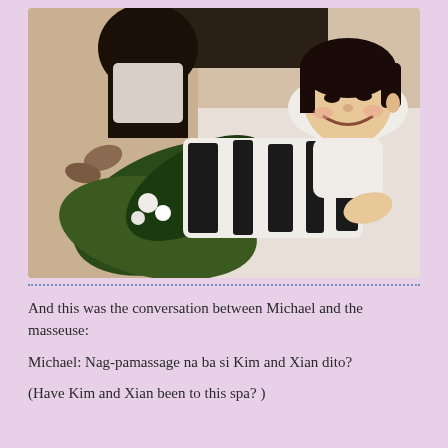[Figure (photo): Photo of a young Asian girl lying on a massage table smiling at the camera, with a massage therapist's hands visible and tropical leaf/floral spa decorations. Vintage warm-toned photo.]
And this was the conversation between Michael and the masseuse:
Michael: Nag-pamassage na ba si Kim and Xian dito?
(Have Kim and Xian been to this spa? )